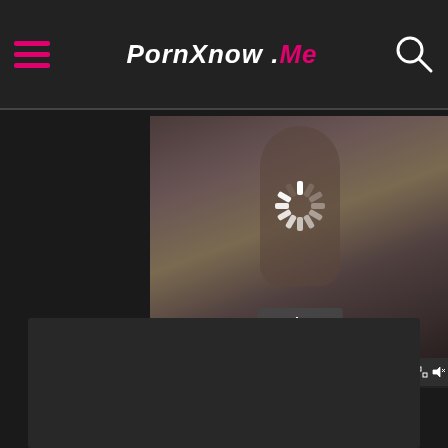PornXnow .Me
[Figure (screenshot): Video player showing a paused video with a loading spinner and Play button overlay, with video controls bar at the bottom showing timestamps 00:11 and 08:18]
[Figure (screenshot): Dark content/advertisement box at the bottom of the page]